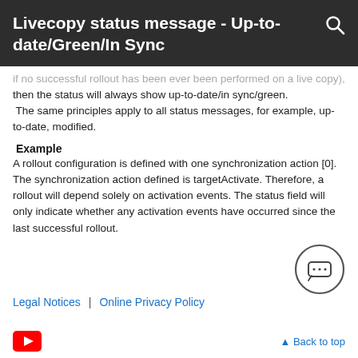Livecopy status message - Up-to-date/Green/In Sync
if no successful rollout has been ever been performed on a live copy), then the status will always show up-to-date/in sync/green. The same principles apply to all status messages, for example, up-to-date, modified.
Example
A rollout configuration is defined with one synchronization action [0]. The synchronization action defined is targetActivate. Therefore, a rollout will depend solely on activation events. The status field will only indicate whether any activation events have occurred since the last successful rollout.
Legal Notices  |  Online Privacy Policy